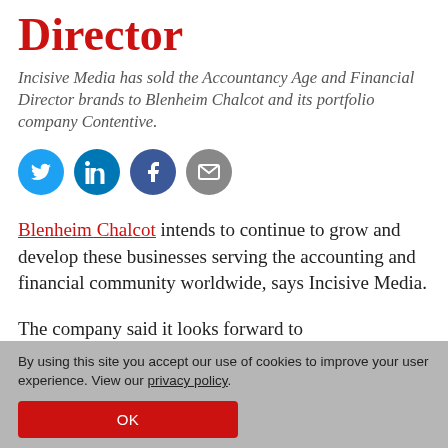Director
Incisive Media has sold the Accountancy Age and Financial Director brands to Blenheim Chalcot and its portfolio company Contentive.
[Figure (infographic): Row of four social media share icons: Twitter (blue circle with bird), LinkedIn (blue circle with 'in'), Facebook (dark blue circle with 'f'), Email (grey circle with envelope)]
Blenheim Chalcot intends to continue to grow and develop these businesses serving the accounting and financial community worldwide, says Incisive Media.
The company said it looks forward to
By using this site you accept our use of cookies to improve your user experience. View our privacy policy.
OK